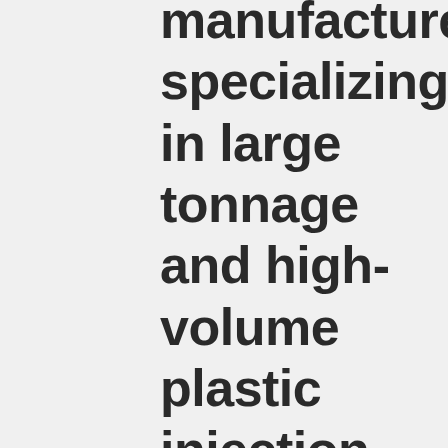manufacturer specializing in large tonnage and high-volume plastic injection molding, our goal is to partner with you and make your molding project a success – the portion you require – to deliver your product directly to your customer. OTTO can provide various tonnage capabilities, a knowledgeable and experienced team, strategic southeast and